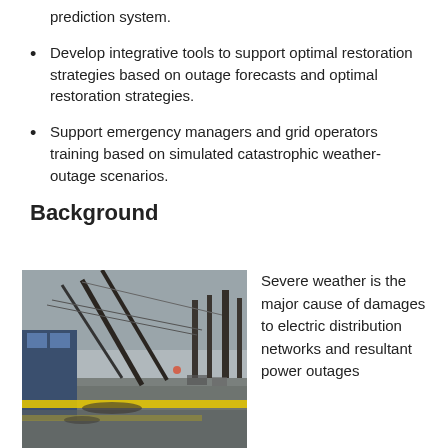prediction system.
Develop integrative tools to support optimal restoration strategies based on outage forecasts and optimal restoration strategies.
Support emergency managers and grid operators training based on simulated catastrophic weather-outage scenarios.
Background
[Figure (photo): A photo showing downed power lines and utility poles collapsed on a wet street, with yellow caution tape in the foreground, trees without leaves, and overcast sky in the background.]
Severe weather is the major cause of damages to electric distribution networks and resultant power outages